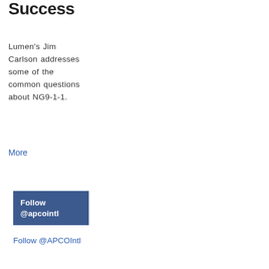Success
Lumen's Jim Carlson addresses some of the common questions about NG9-1-1.
More
[Figure (other): Dark blue box with white text: Follow @apcointl]
Follow @APCOIntl